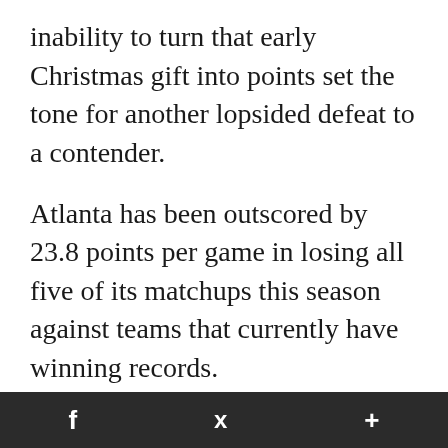inability to turn that early Christmas gift into points set the tone for another lopsided defeat to a contender.
Atlanta has been outscored by 23.8 points per game in losing all five of its matchups this season against teams that currently have winning records.
"When you're playing a good football team in an important game, you have to find ways to score and you have to take advantage of those opportunities," Falcons quarterback Matt Ryan said. "That's something we have to be better at
f  •  +  (social media share bar)